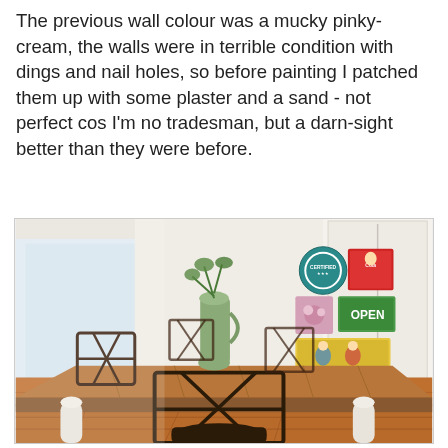The previous wall colour was a mucky pinky-cream, the walls were in terrible condition with dings and nail holes, so before painting I patched them up with some plaster and a sand - not perfect cos I'm no tradesman, but a darn-sight better than they were before.
[Figure (photo): Interior photo of a dining room featuring a wooden farmhouse table with white painted legs, dark wooden cross-back chairs, a green ceramic jug/vase with greenery on the table, warm timber floorboards, white walls with decorative retro/vintage signs (including an OPEN sign), and a white wardrobe/cupboard on the right side. Natural light comes from a window on the left.]